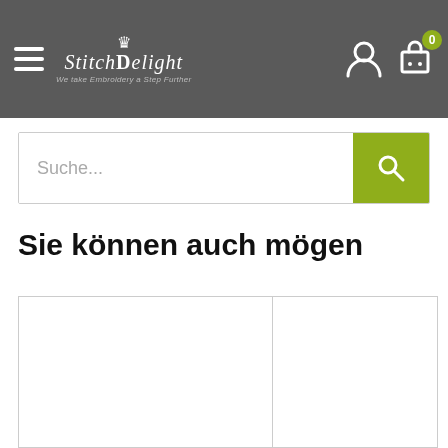StitchDelight — We take Embroidery a Step Further
Suche...
Sie können auch mögen
[Figure (other): Product grid showing two product cards side by side, both empty/blank white cards with a border outline]